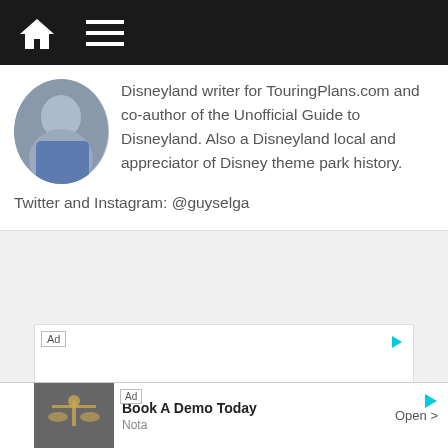Navigation bar with home and menu icons
Disneyland writer for TouringPlans.com and co-author of the Unofficial Guide to Disneyland. Also a Disneyland local and appreciator of Disney theme park history.
Twitter and Instagram: @guyselga
[Figure (other): Advertisement placeholder box with 'Ad' label and arrow icon]
[Figure (other): Bottom banner ad with photo of legal documents/scales, title 'Book A Demo Today', subtitle 'Nota', and 'Open >' button]